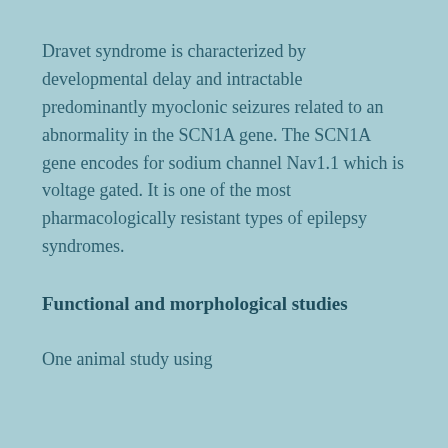Dravet syndrome is characterized by developmental delay and intractable predominantly myoclonic seizures related to an abnormality in the SCN1A gene. The SCN1A gene encodes for sodium channel Nav1.1 which is voltage gated. It is one of the most pharmacologically resistant types of epilepsy syndromes.
Functional and morphological studies
One animal study using SCN1A/Scn1a+/KTT mouse model